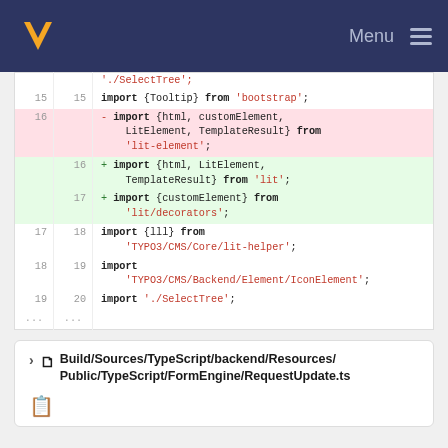Menu
[Figure (screenshot): Code diff view showing import changes in a TypeScript file. Lines 15-19 shown with old and new line numbers, deletions highlighted in pink and additions in green. Shows import statements being updated from lit-element to lit and lit/decorators packages.]
Build/Sources/TypeScript/backend/Resources/Public/TypeScript/FormEngine/RequestUpdate.ts